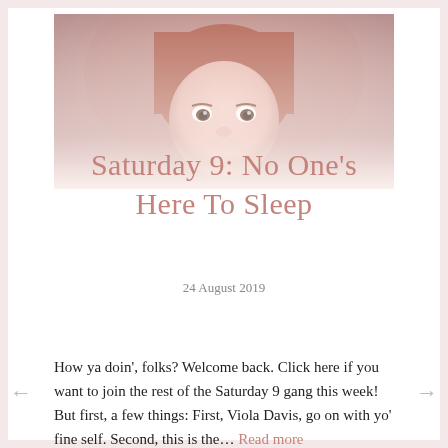[Figure (photo): A young child with a bowl-cut hairstyle and large eyes, photographed in muted pinkish-beige tones, the lower half of the face faded]
Saturday 9: No One's Here To Sleep
24 August 2019
How ya doin', folks? Welcome back. Click here if you want to join the rest of the Saturday 9 gang this week! But first, a few things: First, Viola Davis, go on with yo' fine self. Second, this is the… Read more